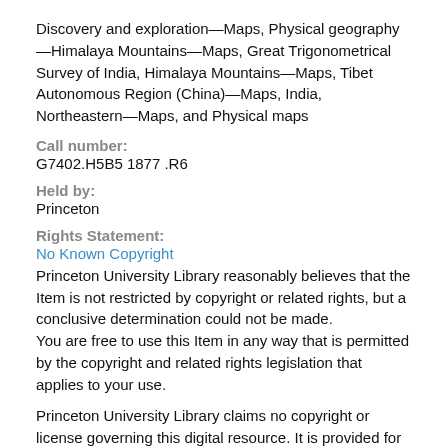Discovery and exploration—Maps, Physical geography—Himalaya Mountains—Maps, Great Trigonometrical Survey of India, Himalaya Mountains—Maps, Tibet Autonomous Region (China)—Maps, India, Northeastern—Maps, and Physical maps
Call number:
G7402.H5B5 1877 .R6
Held by:
Princeton
Rights Statement:
No Known Copyright
Princeton University Library reasonably believes that the Item is not restricted by copyright or related rights, but a conclusive determination could not be made.
You are free to use this Item in any way that is permitted by the copyright and related rights legislation that applies to your use.
Princeton University Library claims no copyright or license governing this digital resource. It is provided for free, on a non-commercial, open-access basis, for fair-use academic and research purposes only. Anyone who claims copyright over any part of these resources and feels that they should not be